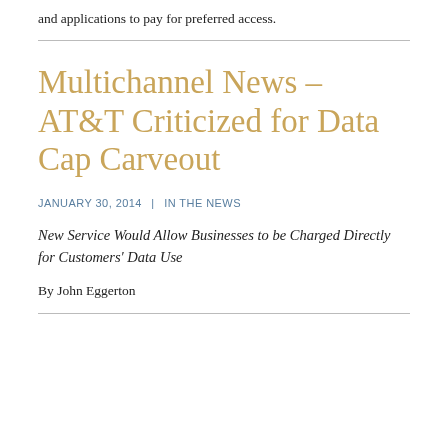and applications to pay for preferred access.
Multichannel News - AT&T Criticized for Data Cap Carveout
JANUARY 30, 2014 | IN THE NEWS
New Service Would Allow Businesses to be Charged Directly for Customers' Data Use
By John Eggerton